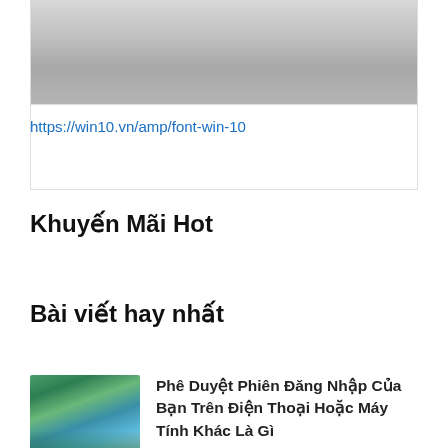[Figure (screenshot): Gradient gray image placeholder at top of page]
https://win10.vn/amp/font-win-10
Khuyến Mãi Hot
Bài viết hay nhất
[Figure (photo): Thumbnail image of a waterfall landscape with mountains and water]
Phê Duyệt Phiên Đăng Nhập Của Bạn Trên Điện Thoại Hoặc Máy Tính Khác Là Gì